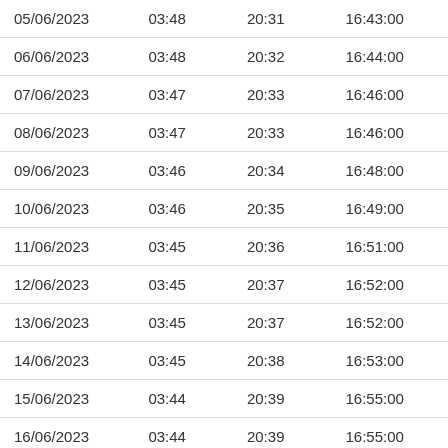| 05/06/2023 | 03:48 | 20:31 | 16:43:00 |
| 06/06/2023 | 03:48 | 20:32 | 16:44:00 |
| 07/06/2023 | 03:47 | 20:33 | 16:46:00 |
| 08/06/2023 | 03:47 | 20:33 | 16:46:00 |
| 09/06/2023 | 03:46 | 20:34 | 16:48:00 |
| 10/06/2023 | 03:46 | 20:35 | 16:49:00 |
| 11/06/2023 | 03:45 | 20:36 | 16:51:00 |
| 12/06/2023 | 03:45 | 20:37 | 16:52:00 |
| 13/06/2023 | 03:45 | 20:37 | 16:52:00 |
| 14/06/2023 | 03:45 | 20:38 | 16:53:00 |
| 15/06/2023 | 03:44 | 20:39 | 16:55:00 |
| 16/06/2023 | 03:44 | 20:39 | 16:55:00 |
| 17/06/2023 | 03:44 | 20:40 | 16:56:00 |